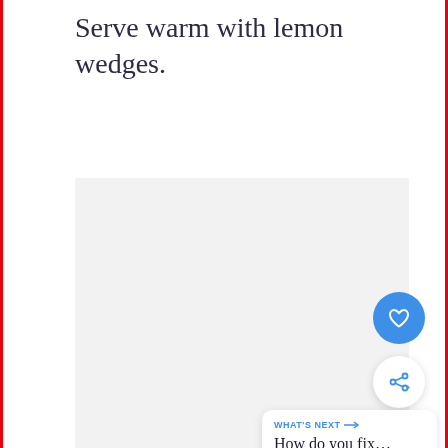Serve warm with lemon wedges.
[Figure (photo): Large light gray placeholder image area for a food photo]
[Figure (other): Blue circular heart/favorite button (FAB)]
[Figure (other): White circular share button (FAB) with share icon]
WHAT'S NEXT → How do you fix...